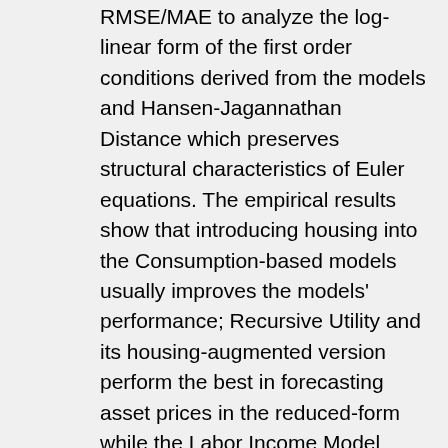RMSE/MAE to analyze the log-linear form of the first order conditions derived from the models and Hansen-Jagannathan Distance which preserves structural characteristics of Euler equations. The empirical results show that introducing housing into the Consumption-based models usually improves the models' performance; Recursive Utility and its housing-augmented version perform the best in forecasting asset prices in the reduced-form while the Labor Income Model produces the least Euler Equation Error; and Labor Income and Collateral Constraint are indeed relevant in explaining asset returns. Since the Recursive Utility Model is proved to be the best model form to predict asset prices in the first essay, the second essay extents the Recursive Utility Model by means of including the labor market search and matching into it. Thus this model tries to connect financial asset prices with labor market phenomenon and it naturally generates a new macroeconomic pricing factor which is "job market tightness" to predict the aggregate stock price. We use Bayesian estimation method which is among the first trying for this kind of model set up. Our posterior